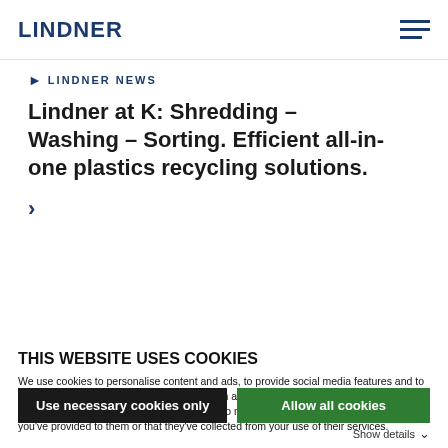LINDNER
LINDNER NEWS
Lindner at K: Shredding – Washing – Sorting. Efficient all-in-one plastics recycling solutions.
THIS WEBSITE USES COOKIES
We use cookies to personalise content and ads, to provide social media features and to analyse our traffic. We also share information about your use of our site with our social media, advertising and analytics partners who may combine it with other information that you've provided to them or that they've collected from your use of their services.
Use necessary cookies only
Allow all cookies
Show details